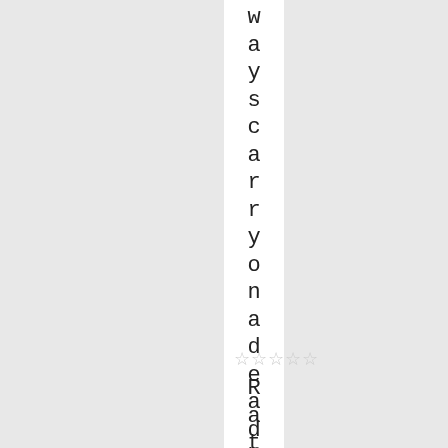wayscarryonadeadhole.
[Figure (other): Five empty star rating icons in a row]
Rating